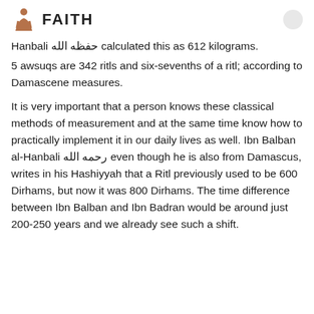FAITH
Hanbali حفظه الله calculated this as 612 kilograms.
5 awsuqs are 342 ritls and six-sevenths of a ritl; according to Damascene measures.
It is very important that a person knows these classical methods of measurement and at the same time know how to practically implement it in our daily lives as well. Ibn Balban al-Hanbali رحمه الله even though he is also from Damascus, writes in his Hashiyyah that a Ritl previously used to be 600 Dirhams, but now it was 800 Dirhams. The time difference between Ibn Balban and Ibn Badran would be around just 200-250 years and we already see such a shift.